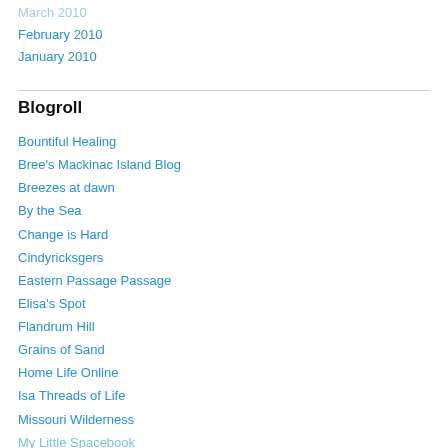February 2010
January 2010
Blogroll
Bountiful Healing
Bree's Mackinac Island Blog
Breezes at dawn
By the Sea
Change is Hard
Cindyricksgers
Eastern Passage Passage
Elisa's Spot
Flandrum Hill
Grains of Sand
Home Life Online
Isa Threads of Life
Missouri Wilderness
My Little Spacebook